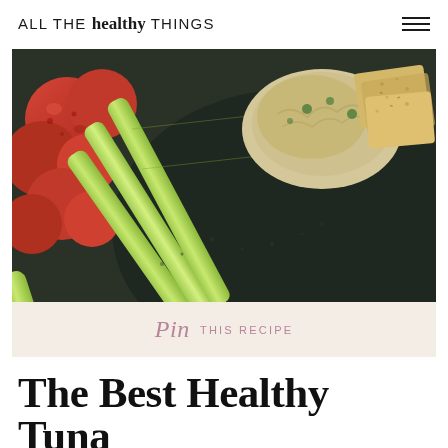ALL THE healthy THINGS
[Figure (photo): Close-up photo of celery sticks, halved cherry tomatoes, crackers, and tuna salad on a dark plate]
Pin THIS RECIPE
The Best Healthy Tuna Salad